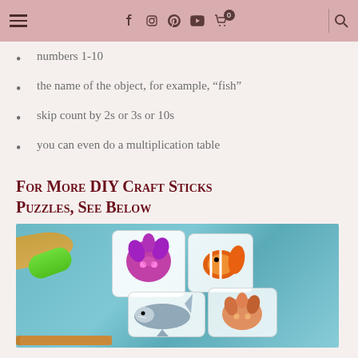Navigation bar with hamburger menu, social icons (Facebook, Instagram, Pinterest, YouTube), cart (0), and search
numbers 1-10
the name of the object, for example, “fish”
skip count by 2s or 3s or 10s
you can even do a multiplication table
For More DIY Craft Sticks Puzzles, See Below
[Figure (photo): Photo of DIY craft sticks puzzles showing colorful sea creature images (coral, clownfish, shark) on a blue wooden background with clay sticks]